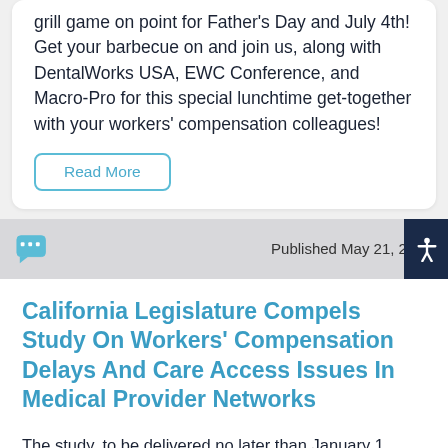grill game on point for Father's Day and July 4th! Get your barbecue on and join us, along with DentalWorks USA, EWC Conference, and Macro-Pro for this special lunchtime get-together with your workers' compensation colleagues!
Read More
Published May 21, 2021
California Legislature Compels Study On Workers' Compensation Delays And Care Access Issues In Medical Provider Networks
The study, to be delivered no later than January 1, 2023, must compare data for injury claims in which